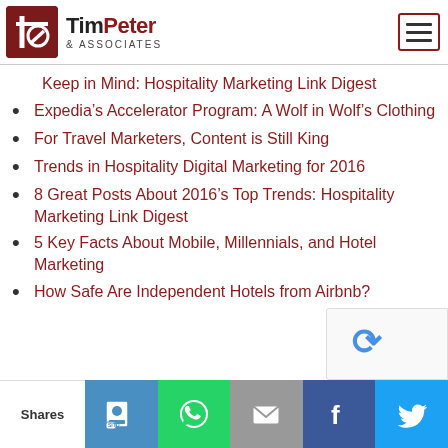TimPeter & Associates
Keep in Mind: Hospitality Marketing Link Digest
Expedia’s Accelerator Program: A Wolf in Wolf’s Clothing
For Travel Marketers, Content is Still King
Trends in Hospitality Digital Marketing for 2016
8 Great Posts About 2016’s Top Trends: Hospitality Marketing Link Digest
5 Key Facts About Mobile, Millennials, and Hotel Marketing
How Safe Are Independent Hotels from Airbnb?
Shares | Social share buttons: SITE, WhatsApp, Email, Facebook, Twitter